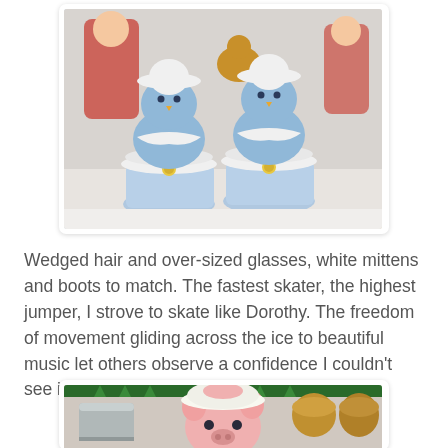[Figure (photo): Two blue felt/fabric snowman-like figurines sitting in white ruffled cups, surrounded by holiday figurines including reindeer and other characters in the background]
Wedged hair and over-sized glasses, white mittens and boots to match. The fastest skater, the highest jumper, I strove to skate like Dorothy. The freedom of movement gliding across the ice to beautiful music let others observe a confidence I couldn't see in myself.
[Figure (photo): A pink pig or animal figurine wearing a white ruffled hat/collar, with green grass decorations and metallic/gold objects in the background]